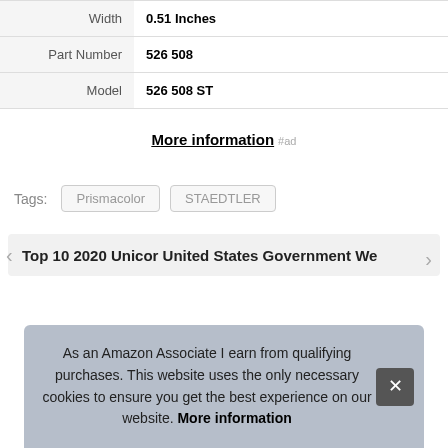| Width | 0.51 Inches |
| Part Number | 526 508 |
| Model | 526 508 ST |
More information #ad
Tags: Prismacolor STAEDTLER
Top 10 2020 Unicor United States Government We
As an Amazon Associate I earn from qualifying purchases. This website uses the only necessary cookies to ensure you get the best experience on our website. More information